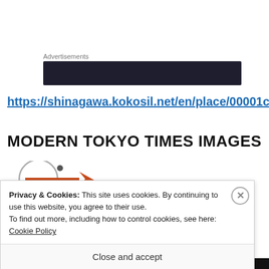Advertisements
[Figure (other): Dark advertisement banner placeholder]
https://shinagawa.kokosil.net/en/place/00001c0
MODERN TOKYO TIMES IMAGES
[Figure (logo): Partial logo with red and dark colors visible]
Privacy & Cookies: This site uses cookies. By continuing to use this website, you agree to their use.
To find out more, including how to control cookies, see here: Cookie Policy
Close and accept